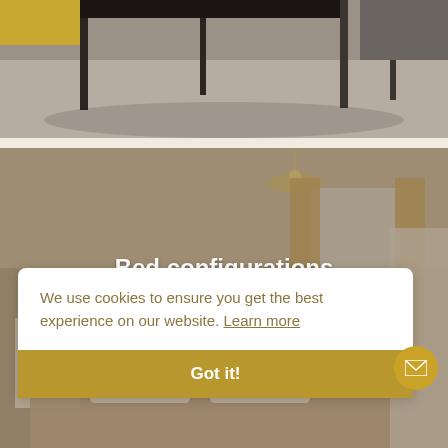[Figure (photo): Top portion of a room interior photo showing dark furniture legs and a grey/beige floor]
[Figure (photo): Bedroom interior with a super king size bed featuring a cushioned headboard, bedside tables with lamp, a chandelier, curtained window, and wardrobe. Image has a warm brown tint overlay.]
Bed configurations
A sumptuous super King size bed with a cushioned headboard
We use cookies to ensure you get the best experience on our website. Learn more
Got it!